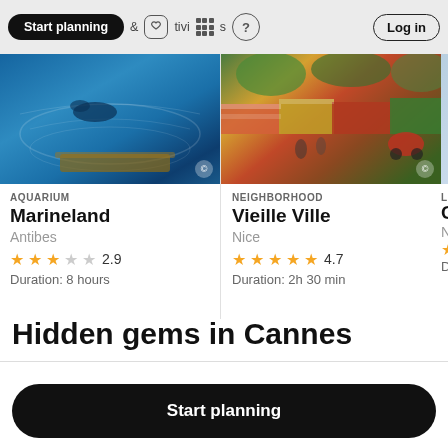Start planning | & activities | ? | Log in
[Figure (photo): Aquarium photo showing blue water with marine animal at Marineland, Antibes]
AQUARIUM
Marineland
Antibes
2.9
Duration: 8 hours
[Figure (photo): Neighborhood photo showing colorful market stalls at Vieille Ville, Nice]
NEIGHBORHOOD
Vieille Ville
Nice
4.7
Duration: 2h 30 min
Hidden gems in Cannes
Start planning